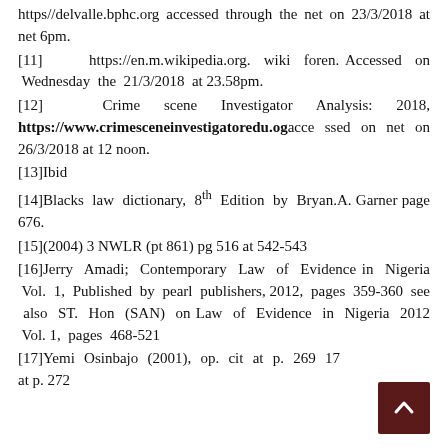https//delvalle.bphc.org accessed through the net on 23/3/2018 at net 6pm.
[11]  https://en.m.wikipedia.org. wiki foren. Accessed on Wednesday the 21/3/2018 at 23.58pm.
[12]  Crime scene Investigator Analysis: 2018, https://www.crimesceneinvestigatoredu.og accessed on net on 26/3/2018 at 12 noon.
[13] Ibid
[14] Blacks law dictionary, 8th Edition by Bryan.A. Garner page 676.
[15] (2004) 3 NWLR (pt 861) pg 516 at 542-543
[16] Jerry Amadi; Contemporary Law of Evidence in Nigeria Vol. 1, Published by pearl publishers, 2012, pages 359-360 see also ST. Hon (SAN) on Law of Evidence in Nigeria 2012 Vol. 1, pages 468-521
[17] Yemi Osinbajo (2001), op. cit at p. 269 17 at p. 272